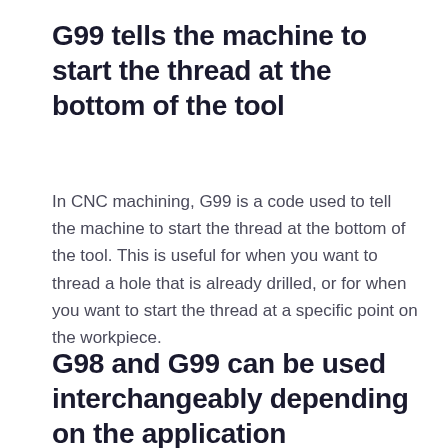G99 tells the machine to start the thread at the bottom of the tool
In CNC machining, G99 is a code used to tell the machine to start the thread at the bottom of the tool. This is useful for when you want to thread a hole that is already drilled, or for when you want to start the thread at a specific point on the workpiece.
G98 and G99 can be used interchangeably depending on the application